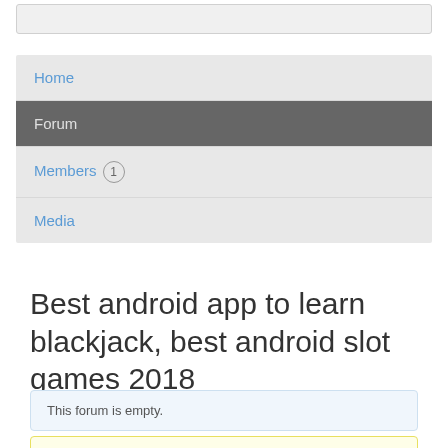Home
Forum
Members 1
Media
Best android app to learn blackjack, best android slot games 2018
This forum is empty.
Oh, bother! No topics were found here.